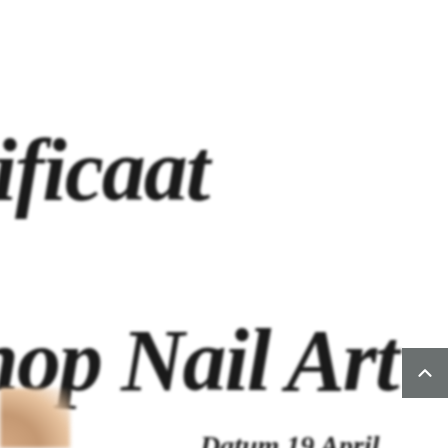tificaat
hop Nail Art
Datum 19 April...
[Figure (photo): Partial view of a certificate document with cursive/script text reading 'tificaat' (part of 'Certificaat') and 'hop Nail Art' (part of 'Workshop Nail Art'), with a small date line partially visible and a person's hand/face visible at the bottom left corner. A grey scroll-to-top button is visible on the right side.]